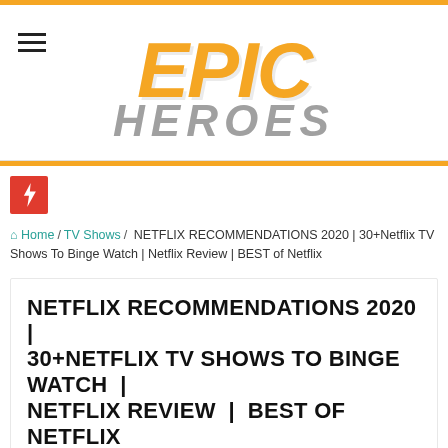[Figure (logo): Epic Heroes website logo with orange 'EPIC' text and grey 'HEROES' text in bold italic style]
Home / TV Shows / NETFLIX RECOMMENDATIONS 2020 | 30+Netflix TV Shows To Binge Watch | Netflix Review | BEST of Netflix
NETFLIX RECOMMENDATIONS 2020 | 30+NETFLIX TV SHOWS TO BINGE WATCH | NETFLIX REVIEW | BEST OF NETFLIX
Zo  January 3, 2021  TV Shows